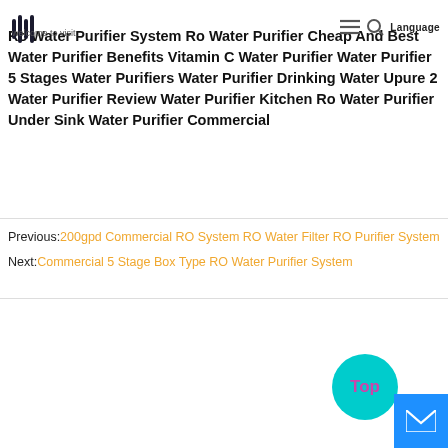welcome to visit.
Ro Water Purifier System Ro Water Purifier Cheap And Best Water Purifier Benefits Vitamin C Water Purifier Water Purifier 5 Stages Water Purifiers Water Purifier Drinking Water Upure 2 Water Purifier Review Water Purifier Kitchen Ro Water Purifier Under Sink Water Purifier Commercial
Previous: 200gpd Commercial RO System RO Water Filter RO Purifier System
Next: Commercial 5 Stage Box Type RO Water Purifier System